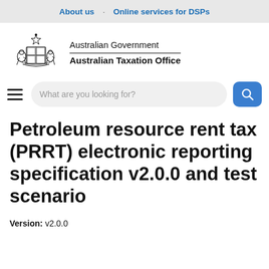About us · Online services for DSPs
[Figure (logo): Australian Government Australian Taxation Office crest and organisation name]
Petroleum resource rent tax (PRRT) electronic reporting specification v2.0.0 and test scenario
Version: v2.0.0